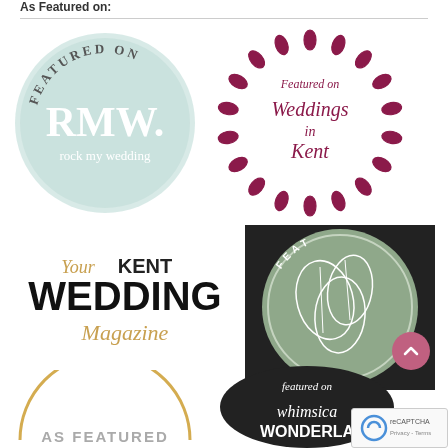As Featured on:
[Figure (logo): Featured on RMW rock my wedding - circular mint/sage badge with FEATURED ON at top and RMW. rock my wedding text]
[Figure (logo): Featured on Weddings in Kent - circular badge with floral wreath border in dark red/burgundy]
[Figure (logo): YourKENT WEDDING Magazine logo - black bold text with gold script]
[Figure (logo): Featured badge - circular sage green with leaf illustration and FEATURED text around border]
[Figure (logo): AS FEATURED - golden arc over text on white background]
[Figure (logo): featured on whimsical wonderland - black circular badge with white script text]